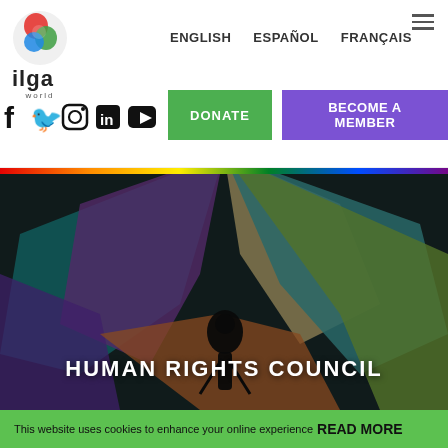[Figure (logo): ILGA World logo — colorful circular icon above 'ilga' text and 'world' subtitle]
ENGLISH   ESPAÑOL   FRANÇAIS
DONATE   BECOME A MEMBER
[Figure (illustration): Social media icons: Facebook, Twitter, Instagram, LinkedIn, YouTube]
[Figure (photo): Hero image: silhouette of a person inside a colorful hot air balloon with rainbow-colored panels. Overlay text: HUMAN RIGHTS COUNCIL]
HUMAN RIGHTS COUNCIL
This website uses cookies to enhance your online experience READ MORE